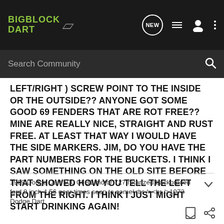BIGBLOCK DART
Search Community
LEFT/RIGHT ) SCREW POINT TO THE INSIDE OR THE OUTSIDE?? ANYONE GOT SOME GOOD 69 FENDERS THAT ARE ROT FREE?? MINE ARE REALLY NICE, STRAIGHT AND RUST FREE. AT LEAST THAT WAY I WOULD HAVE THE SIDE MARKERS. JIM, DO YOU HAVE THE PART NUMBERS FOR THE BUCKETS. I THINK I SAW SOMETHING ON THE OLD SITE BEFORE THAT SHOWED HOW YOU TELL THE LEFT FROM THE RIGHT. I THINK I JUST MIGHT START DRINKING AGAIN!
1969 Dodge Dart 500 CI B1 motor 727 rotarized backbraced ford 9 inch 4.56 gear times soon to come!<br /><br />1973 Dodge Dart